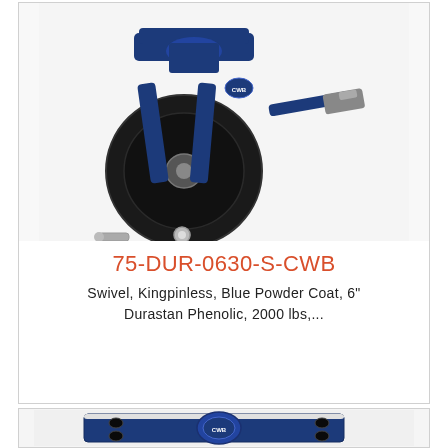[Figure (photo): Industrial swivel caster with kingpinless blue powder coat frame, black Durastan Phenolic 6-inch wheel, and side brake lever. CWB logo visible on the frame.]
75-DUR-0630-S-CWB
Swivel, Kingpinless, Blue Powder Coat, 6" Durastan Phenolic, 2000 lbs,...
[Figure (photo): Top-down view of caster mounting plate with blue powder coat finish, showing mounting holes and CWB logo badge on the swivel body.]